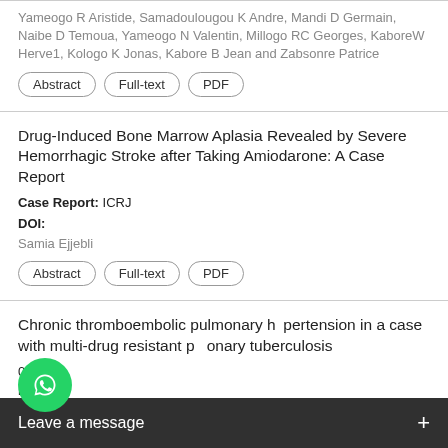Yameogo R Aristide, Samadoulougou K Andre, Mandi D Germain, Naibe D Temoua, Yameogo N Valentin, Millogo RC Georges, KaboreW Herve1, Kologo K Jonas, Kabore B Jean and Zabsonre Patrice
Abstract | Full-text | PDF
Drug-Induced Bone Marrow Aplasia Revealed by Severe Hemorrhagic Stroke after Taking Amiodarone: A Case Report
Case Report: ICRJ
DOI:
Samia Ejjebli
Abstract | Full-text | PDF
Chronic thromboembolic pulmonary hypertension in a case with multi-drug resistant pulmonary tuberculosis
015, 4:1
DOI: